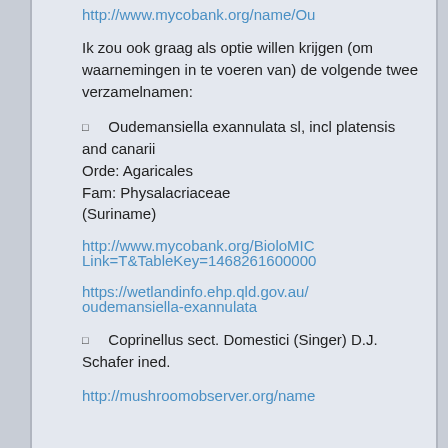http://www.mycobank.org/name/Ou
Ik zou ook graag als optie willen krijgen (om waarnemingen in te voeren van) de volgende twee verzamelnamen:
Oudemansiella exannulata sl, incl platensis and canarii
Orde: Agaricales
Fam: Physalacriaceae
(Suriname)
http://www.mycobank.org/BioloMIC
Link=T&TableKey=1468261600000
https://wetlandinfo.ehp.qld.gov.au/
oudemansiella-exannulata
Coprinellus sect. Domestici (Singer) D.J. Schafer ined.
http://mushroomobserver.org/name